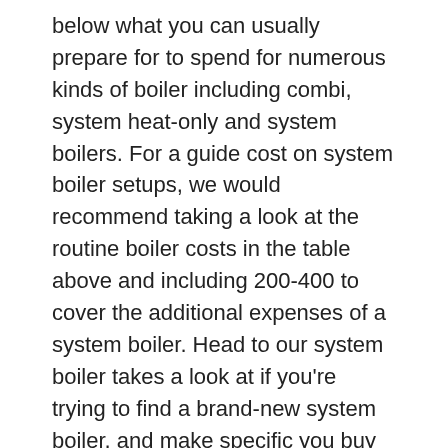below what you can usually prepare for to spend for numerous kinds of boiler including combi, system heat-only and system boilers. For a guide cost on system boiler setups, we would recommend taking a look at the routine boiler costs in the table above and including 200-400 to cover the additional expenses of a system boiler. Head to our system boiler takes a look at if you're trying to find a brand-new system boiler, and make specific you buy one from among the.
To provide you a principle of existing boiler expenses, we expose you in the table kept in mind listed below what you can typically expect to pay for different types of boiler consisting of combi, system heat-only and system boilers. If you're looking for a new regular boiler, likewise